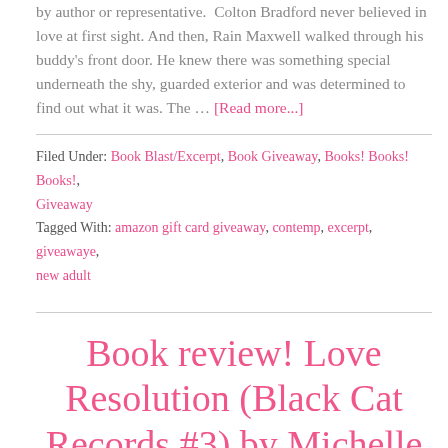by author or representative.  Colton Bradford never believed in love at first sight. And then, Rain Maxwell walked through his buddy's front door. He knew there was something special underneath the shy, guarded exterior and was determined to find out what it was. The … [Read more...]
Filed Under: Book Blast/Excerpt, Book Giveaway, Books! Books! Books!, Giveaway
Tagged With: amazon gift card giveaway, contemp, excerpt, giveawaye, new adult
Book review! Love Resolution (Black Cat Records #3) by Michelle Mankin (plus giveaways!)